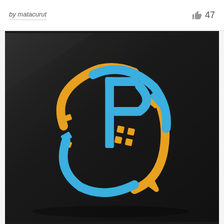by matacurut   👍 47
[Figure (logo): A logo design on a dark glossy surface showing an intertwined circular emblem with blue and golden/orange elements forming abstract letters, with a small four-square diamond grid icon in the center. The logo features sweeping arc shapes in blue and orange/gold colors arranged in an oval composition with notched corners and arrow-like endpoints.]